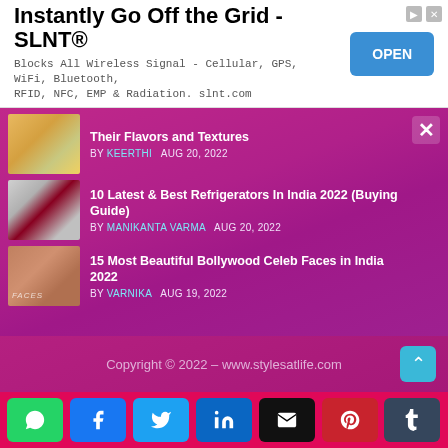[Figure (other): Advertisement banner: Instantly Go Off the Grid - SLNT® with OPEN button]
Their Flavors and Textures BY KEERTHI AUG 20, 2022
10 Latest & Best Refrigerators In India 2022 (Buying Guide) BY MANIKANTA VARMA AUG 20, 2022
15 Most Beautiful Bollywood Celeb Faces in India 2022 BY VARNIKA AUG 19, 2022
Copyright © 2022 – www.stylesatlife.com
[Figure (infographic): Social share buttons: WhatsApp, Facebook, Twitter, LinkedIn, Email, Pinterest, Tumblr]